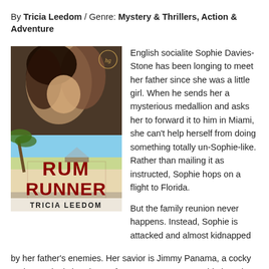By Tricia Leedom / Genre: Mystery & Thrillers, Action & Adventure
[Figure (photo): Book cover of 'Rum Runner' by Tricia Leedom, The Key West Escape Series Book One. Shows a romantic couple at the top with a tropical beach scene below, and the title in large red grunge letters.]
English socialite Sophie Davies-Stone has been longing to meet her father since she was a little girl. When he sends her a mysterious medallion and asks her to forward it to him in Miami, she can't help herself from doing something totally un-Sophie-like. Rather than mailing it as instructed, Sophie hops on a flight to Florida.

But the family reunion never happens. Instead, Sophie is attacked and almost kidnapped by her father's enemies. Her savior is Jimmy Panama, a cocky and annoyingly handsome former Navy SEAL. Sophie isn't the only one who's annoyed. After years of trying to find a way to